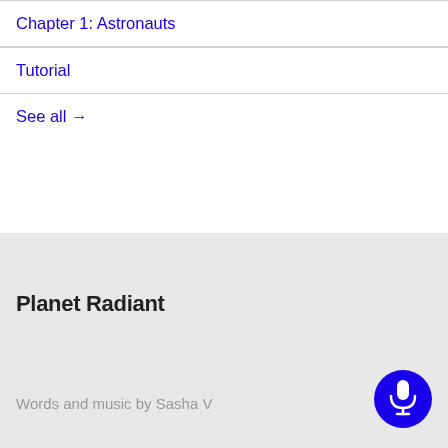Chapter 1: Astronauts
Tutorial
See all →
Planet Radiant
Words and music by Sasha V
[Figure (illustration): Blue circular microphone button icon]